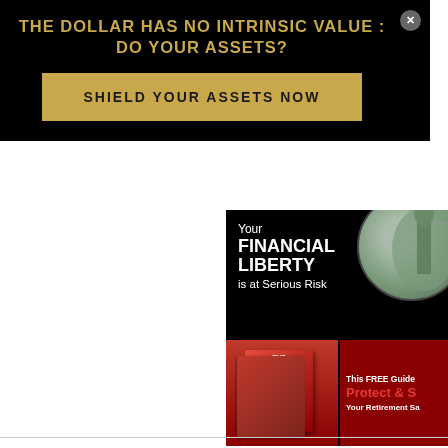THE DOLLAR HAS NO INTRINSIC VALUE : DO YOUR ASSETS?
SHIELD YOUR ASSETS NOW
[Figure (infographic): Advertisement banner: Your FINANCIAL LIBERTY is at Serious Risk. Shows book covers for 'The American IRA & 401k Crisis' and text 'This FREE Guide Protect & S[ecure] Your Retirement Sa[vings]'. Background has Statue of Liberty in circular vignette.]